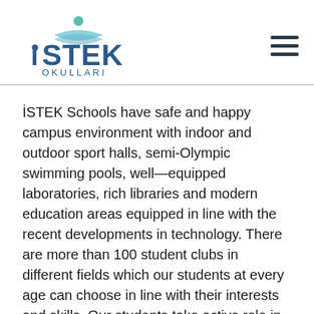[Figure (logo): İSTEK Okulları logo with stylized bird/person figure above waves and the text 'İSTEK OKULLARI' in blue]
İSTEK Schools have safe and happy campus environment with indoor and outdoor sport halls, semi-Olympic swimming pools, well—equipped laboratories, rich libraries and modern education areas equipped in line with the recent developments in technology. There are more than 100 student clubs in different fields which our students at every age can choose in line with their interests and skills. Our students take active role in rich culture, art and sports activities and also social